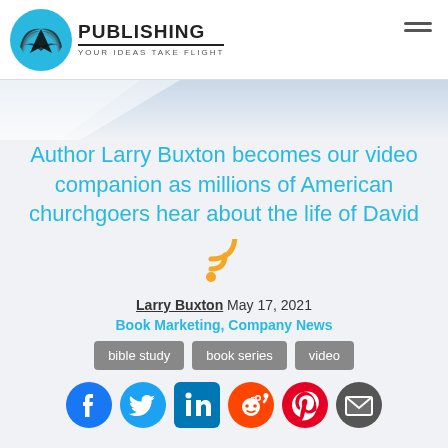PUBLISHING YOUR IDEAS TAKE FLIGHT
Author Larry Buxton becomes our video companion as millions of American churchgoers hear about the life of David
Larry Buxton May 17, 2021
Book Marketing, Company News
bible study
book series
video